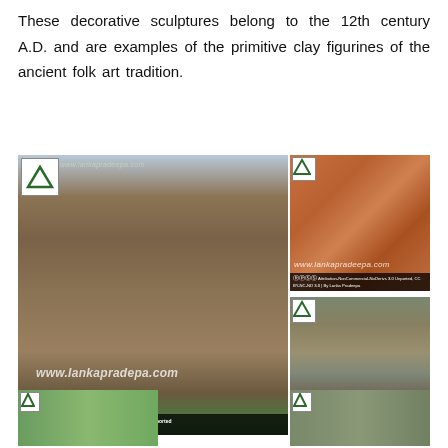These decorative sculptures belong to the 12th century A.D. and are examples of the primitive clay figurines of the ancient folk art tradition.
[Figure (photo): Large photograph of ancient stone ruins with a headless Buddha statue and tall brick columns, with watermark www.lankapradeepa.com]
[Figure (photo): Photograph of ancient cave painting or rock art with reddish-orange pigments on stone surface, with watermark www.lankapradeepa.com]
[Figure (photo): Photograph of ancient ruins corridor with rows of stone columns, with watermark www.lankapradeepa.com]
[Figure (photo): Partial photograph of green landscape ruins at bottom left]
[Figure (photo): Partial photograph of ancient ruins at bottom right]